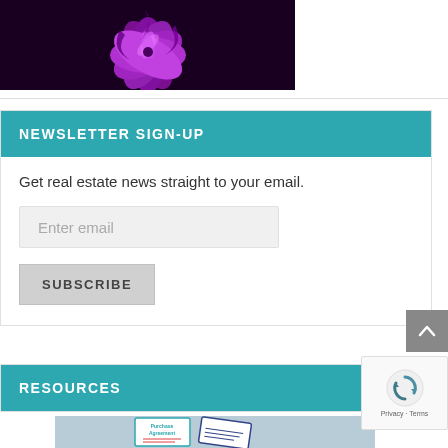[Figure (photo): Dark background with pink/purple flower illustration]
NEWSLETTER SIGN-UP
Get real estate news straight to your email.
Enter email
SUBSCRIBE
RESOURCES
[Figure (photo): Purchase Agreement document image]